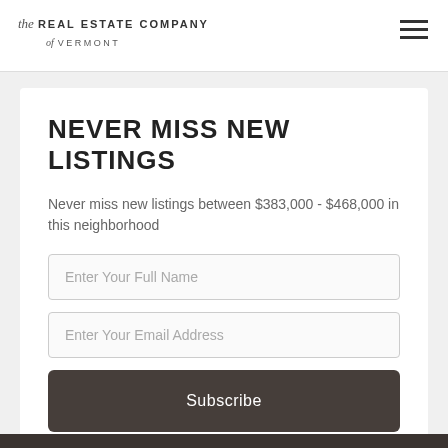the REAL ESTATE COMPANY of VERMONT
NEVER MISS NEW LISTINGS
Never miss new listings between $383,000 - $468,000 in this neighborhood
Enter Your Full Name
Enter Your Email Address
Subscribe
We will never spam you or sell your details. You can unsubscribe whenever you like.